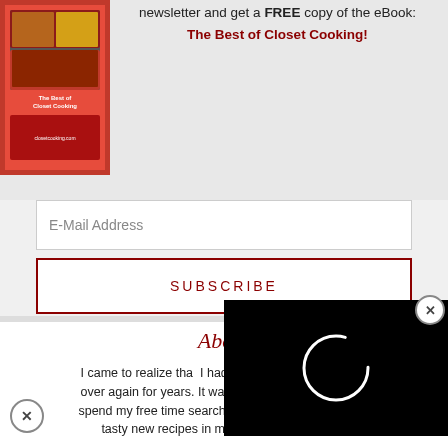[Figure (photo): Book cover of The Best of Closet Cooking eBook with food photos]
newsletter and get a FREE copy of the eBook:
The Best of Closet Cooking!
E-Mail Address
SUBSCRIBE
About
I came to realize that I had been eating over again for years. It was time for a change! I now spend my free time searching for, creating and trying tasty new recipes in my closet sized kitchen.
[Figure (screenshot): Video loading overlay (black box with spinning circle)]